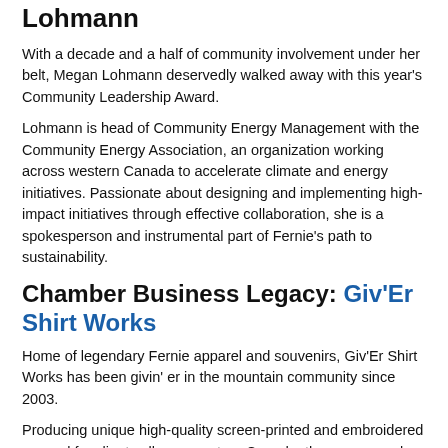Lohmann
With a decade and a half of community involvement under her belt, Megan Lohmann deservedly walked away with this year's Community Leadership Award.
Lohmann is head of Community Energy Management with the Community Energy Association, an organization working across western Canada to accelerate climate and energy initiatives. Passionate about designing and implementing high-impact initiatives through effective collaboration, she is a spokesperson and instrumental part of Fernie's path to sustainability.
Chamber Business Legacy: Giv'Er Shirt Works
Home of legendary Fernie apparel and souvenirs, Giv'Er Shirt Works has been givin' er in the mountain community since 2003.
Producing unique high-quality screen-printed and embroidered apparel for clients all over western Canada, the company also specializes in team wear, the cross fit market, race merchandise and